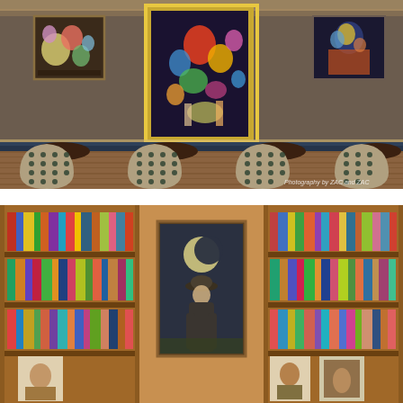[Figure (photo): Interior of an upscale bar or restaurant. Three framed artworks hang on a warm taupe wall: a small square painting on the left with flowers and figures on dark background, a large ornate gold-framed painting in the center with colorful carnival/celebration scene, and a smaller painting on the right with a portrait in blue and yellow tones. Below is a long dark navy/blue velvet banquette. In front are four small dark round tables with patterned upholstered chairs featuring a polka-dot/honeycomb fabric in beige and dark teal. The floor appears to be herringbone wood parquet. A small watermark reads 'Photography by ZAC and ZAC' in the lower right.]
[Figure (photo): Interior of a library or reading room with warm golden-tan wood bookshelves filled with colorful books on left and right sides. In the center is a framed painting of a person seen from behind, wearing a bowler hat, with a glowing crescent moon visible above their head against a dark moody sky — reminiscent of Magritte's style. The bookshelves have multiple shelves densely packed with books of various colors and sizes.]